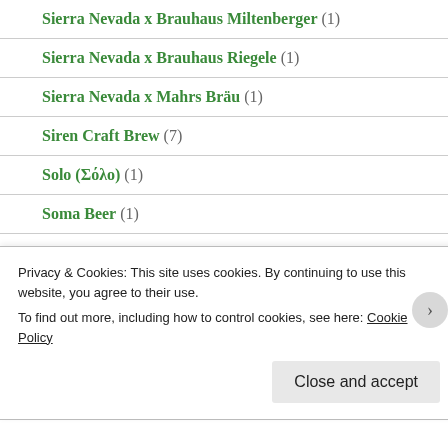Sierra Nevada x Brauhaus Miltenberger (1)
Sierra Nevada x Brauhaus Riegele (1)
Sierra Nevada x Mahrs Bräu (1)
Siren Craft Brew (7)
Solo (Σόλο) (1)
Soma Beer (1)
Sori Brewing (2)
Spencer Brewery (1)
Staggeringly Good Brewery (3)
Privacy & Cookies: This site uses cookies. By continuing to use this website, you agree to their use. To find out more, including how to control cookies, see here: Cookie Policy